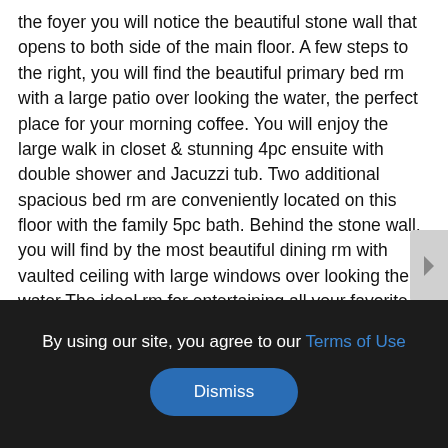the foyer you will notice the beautiful stone wall that opens to both side of the main floor. A few steps to the right, you will find the beautiful primary bed rm with a large patio over looking the water, the perfect place for your morning coffee. You will enjoy the large walk in closet & stunning 4pc ensuite with double shower and Jacuzzi tub. Two additional spacious bed rm are conveniently located on this floor with the family 5pc bath. Behind the stone wall, you will find by the most beautiful dining rm with vaulted ceiling with large windows over looking the water The ideal rm for entertaining all your favorite guest. Off the dining area is the well designed custom kitchen with center island that offers a breakfast nook, a large living living rm with a cozy fireplace, a reading area, all with stunning views of the water. The main level is completed with a side
By using our site, you agree to our Terms of Use
Dismiss